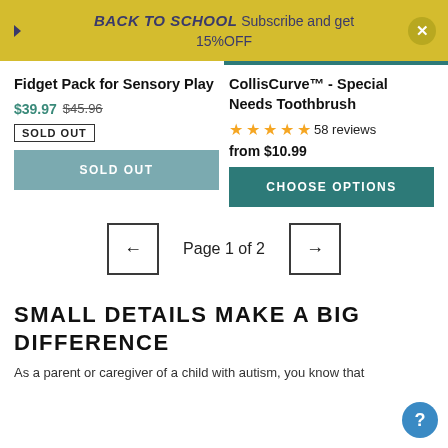BACK TO SCHOOL Subscribe and get 15%OFF
Fidget Pack for Sensory Play
$39.97  $45.96
SOLD OUT
CollisCurve™ - Special Needs Toothbrush
★★★★★ 58 reviews
from $10.99
Page 1 of 2
SMALL DETAILS MAKE A BIG DIFFERENCE
As a parent or caregiver of a child with autism, you know that